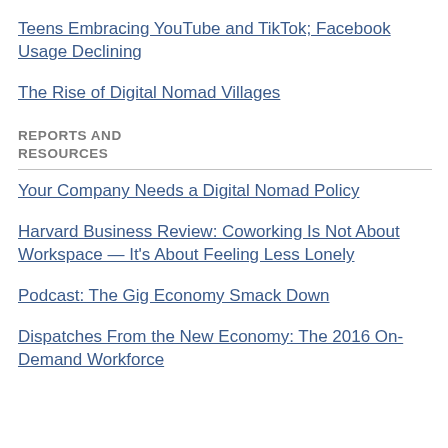Teens Embracing YouTube and TikTok; Facebook Usage Declining
The Rise of Digital Nomad Villages
REPORTS AND RESOURCES
Your Company Needs a Digital Nomad Policy
Harvard Business Review: Coworking Is Not About Workspace — It's About Feeling Less Lonely
Podcast: The Gig Economy Smack Down
Dispatches From the New Economy: The 2016 On-Demand Workforce